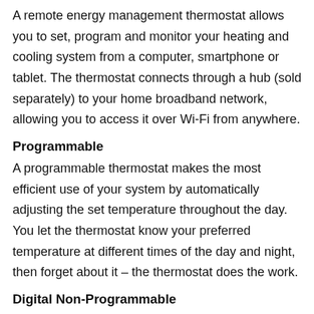A remote energy management thermostat allows you to set, program and monitor your heating and cooling system from a computer, smartphone or tablet. The thermostat connects through a hub (sold separately) to your home broadband network, allowing you to access it over Wi-Fi from anywhere.
Programmable
A programmable thermostat makes the most efficient use of your system by automatically adjusting the set temperature throughout the day. You let the thermostat know your preferred temperature at different times of the day and night, then forget about it – the thermostat does the work.
Digital Non-Programmable